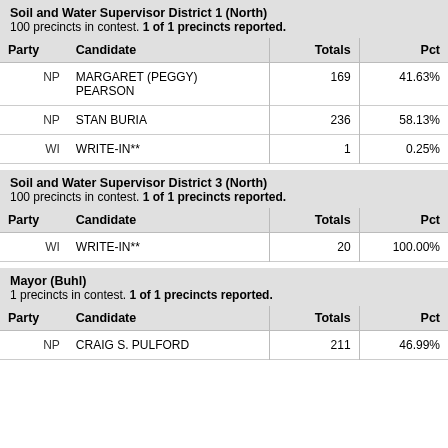Soil and Water Supervisor District 1 (North)
100 precincts in contest. 1 of 1 precincts reported.
| Party | Candidate | Totals | Pct |
| --- | --- | --- | --- |
| NP | MARGARET (PEGGY) PEARSON | 169 | 41.63% |
| NP | STAN BURIA | 236 | 58.13% |
| WI | WRITE-IN** | 1 | 0.25% |
Soil and Water Supervisor District 3 (North)
100 precincts in contest. 1 of 1 precincts reported.
| Party | Candidate | Totals | Pct |
| --- | --- | --- | --- |
| WI | WRITE-IN** | 20 | 100.00% |
Mayor (Buhl)
1 precincts in contest. 1 of 1 precincts reported.
| Party | Candidate | Totals | Pct |
| --- | --- | --- | --- |
| NP | CRAIG S. PULFORD | 211 | 46.99% |